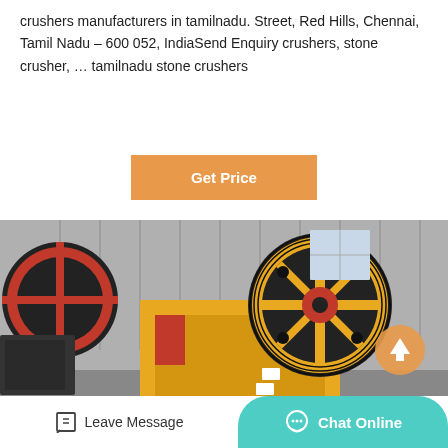crushers manufacturers in tamilnadu. Street, Red Hills, Chennai, Tamil Nadu – 600 052, IndiaSend Enquiry crushers, stone crusher, … tamilnadu stone crushers
[Figure (other): Orange button labeled 'Get Price']
[Figure (photo): A yellow jaw crusher machine with large black and red flywheel in an industrial warehouse setting.]
Leave Message
Chat Online